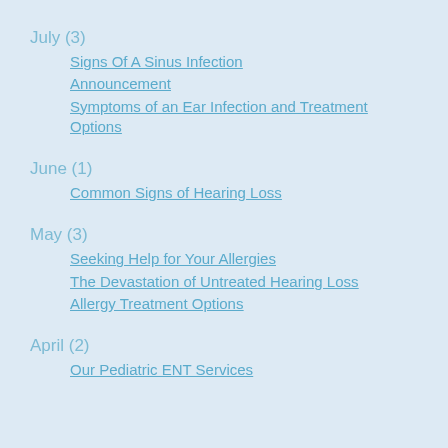July (3)
Signs Of A Sinus Infection
Announcement
Symptoms of an Ear Infection and Treatment Options
June (1)
Common Signs of Hearing Loss
May (3)
Seeking Help for Your Allergies
The Devastation of Untreated Hearing Loss
Allergy Treatment Options
April (2)
Our Pediatric ENT Services